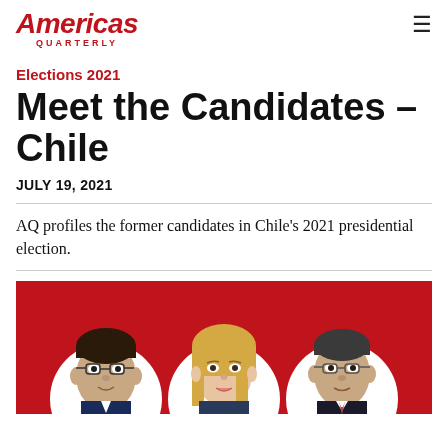Americas Quarterly
Elections 2021
Meet the Candidates – Chile
JULY 19, 2021
AQ profiles the former candidates in Chile's 2021 presidential election.
[Figure (photo): Red banner with three circular portrait photos of Chilean presidential candidates: a man with glasses on the left, a blonde woman in the center, and an older man in a suit on the right.]